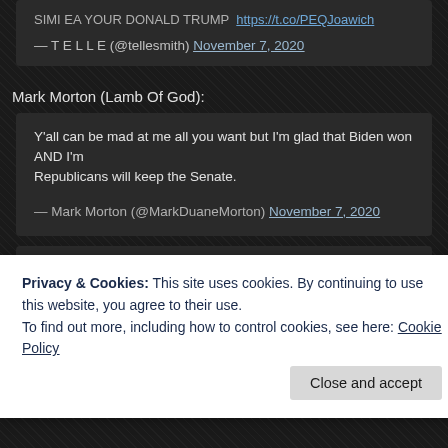— T E L L E (@tellesmith) November 7, 2020
Mark Morton (Lamb Of God):
Y'all can be mad at me all you want but I'm glad that Biden won AND I'm glad Republicans will keep the Senate.
— Mark Morton (@MarkDuaneMorton) November 7, 2020
Objectively, Trump is personally in a far better position by losing than he w... He finally has the branding that he'd aspired to have (albeit in a different f... intended) AND he's now in position to ACTUALLY make all that money th...
Privacy & Cookies: This site uses cookies. By continuing to use this website, you agree to their use.
To find out more, including how to control cookies, see here: Cookie Policy
Close and accept